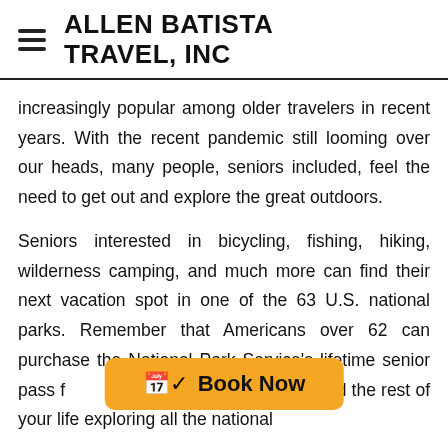ALLEN BATISTA TRAVEL, INC
increasingly popular among older travelers in recent years. With the recent pandemic still looming over our heads, many people, seniors included, feel the need to get out and explore the great outdoors.
Seniors interested in bicycling, fishing, hiking, wilderness camping, and much more can find their next vacation spot in one of the 63 U.S. national parks. Remember that Americans over 62 can purchase the National Park Service's lifetime senior pass f[...] ou can spend the rest of your life exploring all the national